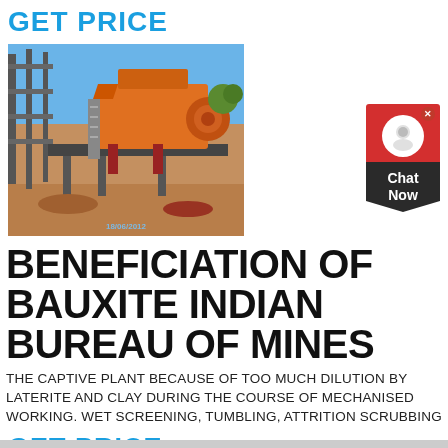GET PRICE
[Figure (photo): Industrial mining/crushing equipment under construction at a job site, showing a large orange jaw crusher or similar machine on elevated platform with scaffolding and steel framework, outdoor setting with blue sky. Timestamp 18/06/2012 visible.]
BENEFICIATION OF BAUXITE INDIAN BUREAU OF MINES
THE CAPTIVE PLANT BECAUSE OF TOO MUCH DILUTION BY LATERITE AND CLAY DURING THE COURSE OF MECHANISED WORKING. WET SCREENING, TUMBLING, ATTRITION SCRUBBING
GET PRICE